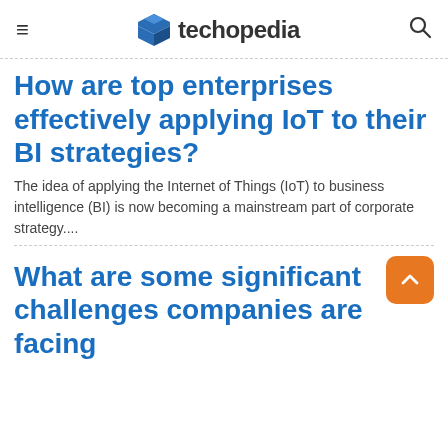techopedia
How are top enterprises effectively applying IoT to their BI strategies?
The idea of applying the Internet of Things (IoT) to business intelligence (BI) is now becoming a mainstream part of corporate strategy....
What are some significant challenges companies are facing